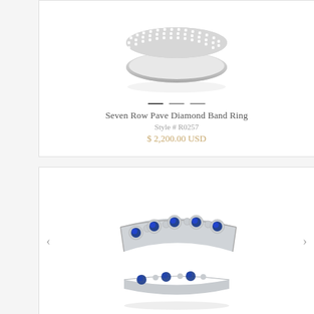[Figure (photo): Two stacked Seven Row Pave Diamond Band Rings shown from top angle, silver/white gold with pavé-set diamonds covering the band surface, photographed on white background with reflection]
Seven Row Pave Diamond Band Ring
Style # R0257
$ 2,200.00 USD
[Figure (photo): Two sapphire and diamond band rings shown at angle, featuring alternating round blue sapphires and diamond halo clusters set in white gold, with navigation arrows on left and right sides]